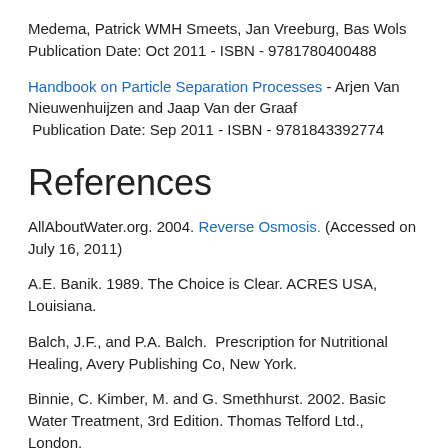Medema, Patrick WMH Smeets, Jan Vreeburg, Bas Wols Publication Date: Oct 2011 - ISBN - 9781780400488
Handbook on Particle Separation Processes - Arjen Van Nieuwenhuijzen and Jaap Van der Graaf Publication Date: Sep 2011 - ISBN - 9781843392774
References
AllAboutWater.org. 2004. Reverse Osmosis. (Accessed on July 16, 2011)
A.E. Banik. 1989. The Choice is Clear. ACRES USA, Louisiana.
Balch, J.F., and P.A. Balch. Prescription for Nutritional Healing, Avery Publishing Co, New York.
Binnie, C. Kimber, M. and G. Smethhurst. 2002. Basic Water Treatment, 3rd Edition. Thomas Telford Ltd., London.